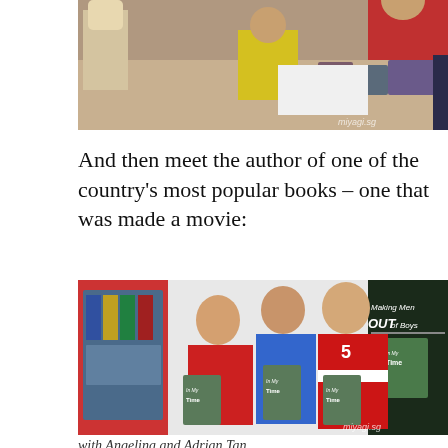[Figure (photo): Top photo showing people at a book signing table with books visible, watermark 'miyagi.sg' in bottom right]
And then meet the author of one of the country's most popular books – one that was made a movie:
[Figure (photo): Three people posing together holding books titled 'In My Time', with a large promotional banner behind them showing 'Making Men OUT of Boys'. Woman in red on left, man in blue shirt in center, man in red polo with number 5 on right. Watermark 'miyagi.sg' in bottom right.]
with Angelina and Adrian Tan